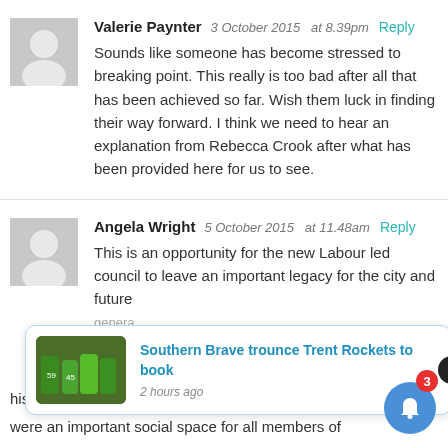Valerie Paynter 3 October 2015 at 8.39pm Reply
Sounds like someone has become stressed to breaking point. This really is too bad after all that has been achieved so far. Wish them luck in finding their way forward. I think we need to hear an explanation from Rebecca Crook after what has been provided here for us to see.
Angela Wright 5 October 2015 at 11.48am Reply
This is an opportunity for the new Labour led council to leave an important legacy for the city and future
[Figure (screenshot): Popup notification card showing a cricket news article: 'Southern Brave trounce Trent Rockets to book' with thumbnail of cricket players in green jerseys, and '2 hours ago' timestamp. Overlaid with a close (X) button and a blue bell notification button with red badge showing '3'.]
MacDona... his government promoted the lido movement...s were an important social space for all members of